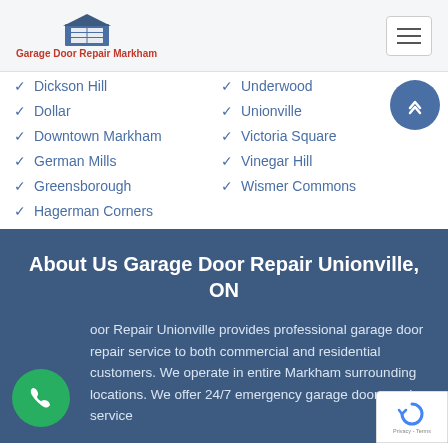Garage Door Repair Markham
Dickson Hill
Dollar
Downtown Markham
German Mills
Greensborough
Hagerman Corners
Underwood
Unionville
Victoria Square
Vinegar Hill
Wismer Commons
About Us Garage Door Repair Unionville, ON
Garage Door Repair Unionville provides professional garage door repair service to both commercial and residential customers. We operate in entire Markham surrounding locations. We offer 24/7 emergency garage door repair service